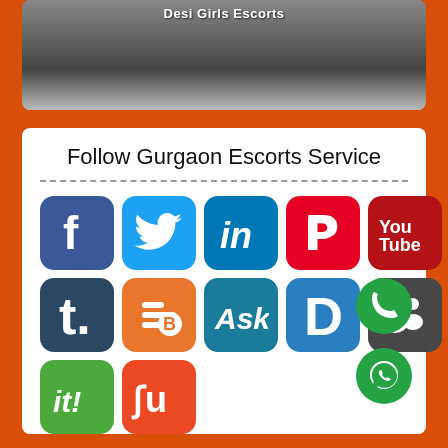[Figure (photo): Top card showing 'Desi Girls Escorts' text overlay on a dark image]
Follow Gurgaon Escorts Service
[Figure (infographic): Grid of social media icons: Facebook, Twitter, LinkedIn, Pinterest, YouTube, Tumblr, Blogger, Ask, Digg, MySpace, iit, StumbleUpon, plus phone and WhatsApp floating buttons]